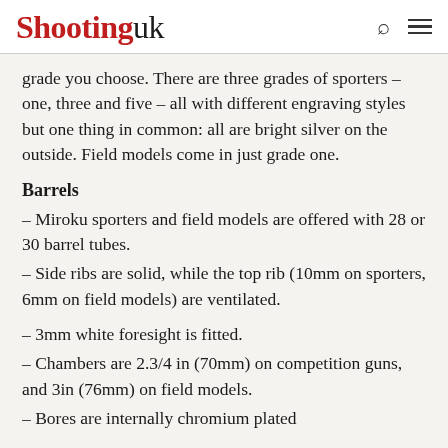Shootinguk
grade you choose. There are three grades of sporters – one, three and five – all with different engraving styles but one thing in common: all are bright silver on the outside. Field models come in just grade one.
Barrels
– Miroku sporters and field models are offered with 28 or 30 barrel tubes.
– Side ribs are solid, while the top rib (10mm on sporters, 6mm on field models) are ventilated.
– 3mm white foresight is fitted.
– Chambers are 2.3/4 in (70mm) on competition guns, and 3in (76mm) on field models.
– Bores are internally chromium plated